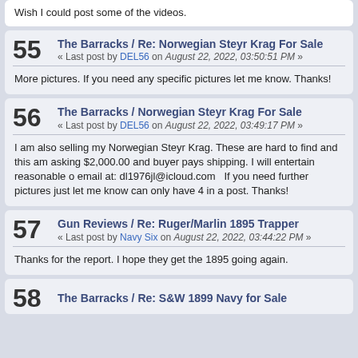Wish I could post some of the videos.
55 The Barracks / Re: Norwegian Steyr Krag For Sale « Last post by DEL56 on August 22, 2022, 03:50:51 PM »
More pictures. If you need any specific pictures let me know. Thanks!
56 The Barracks / Norwegian Steyr Krag For Sale « Last post by DEL56 on August 22, 2022, 03:49:17 PM »
I am also selling my Norwegian Steyr Krag. These are hard to find and this am asking $2,000.00 and buyer pays shipping. I will entertain reasonable o email at: dl1976jl@icloud.com  If you need further pictures just let me know can only have 4 in a post. Thanks!
57 Gun Reviews / Re: Ruger/Marlin 1895 Trapper « Last post by Navy Six on August 22, 2022, 03:44:22 PM »
Thanks for the report. I hope they get the 1895 going again.
58 The Barracks / Re: S&W 1899 Navy for Sale